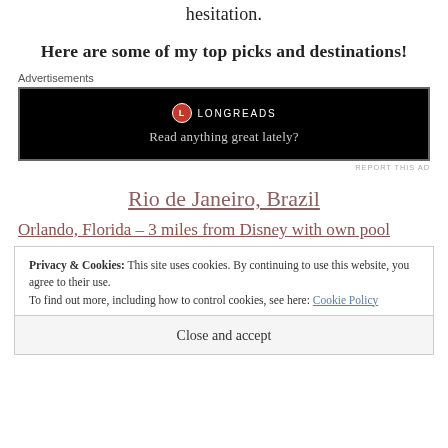hesitation.
Here are some of my top picks and destinations!
Advertisements
[Figure (other): Longreads advertisement banner with black background, red circle logo, brand name LONGREADS, and tagline 'Read anything great lately?']
REPORT THIS AD
Rio de Janeiro, Brazil
Orlando, Florida - 3 miles from Disney with own pool
Privacy & Cookies: This site uses cookies. By continuing to use this website, you agree to their use.
To find out more, including how to control cookies, see here: Cookie Policy
Close and accept